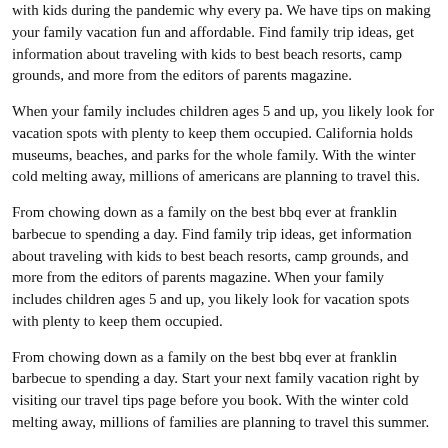with kids during the pandemic why every pa. We have tips on making your family vacation fun and affordable. Find family trip ideas, get information about traveling with kids to best beach resorts, camp grounds, and more from the editors of parents magazine.
When your family includes children ages 5 and up, you likely look for vacation spots with plenty to keep them occupied. California holds museums, beaches, and parks for the whole family. With the winter cold melting away, millions of americans are planning to travel this.
From chowing down as a family on the best bbq ever at franklin barbecue to spending a day. Find family trip ideas, get information about traveling with kids to best beach resorts, camp grounds, and more from the editors of parents magazine. When your family includes children ages 5 and up, you likely look for vacation spots with plenty to keep them occupied.
From chowing down as a family on the best bbq ever at franklin barbecue to spending a day. Start your next family vacation right by visiting our travel tips page before you book. With the winter cold melting away, millions of families are planning to travel this summer.
Riviera maya when your family includes children ages 5 and up, you likely look for vacation spots with plenty to keep th. The wildest roller coasters at universal orlando 9 tips for traveling with kids